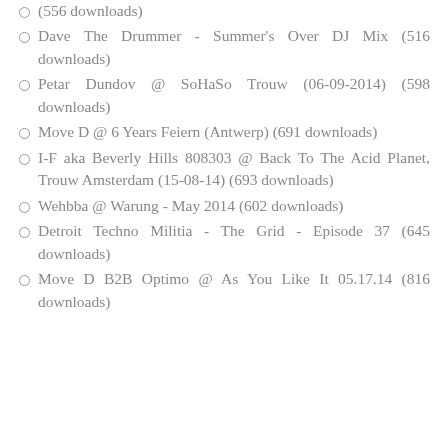(556 downloads)
Dave The Drummer - Summer's Over DJ Mix (516 downloads)
Petar Dundov @ SoHaSo Trouw (06-09-2014) (598 downloads)
Move D @ 6 Years Feiern (Antwerp) (691 downloads)
I-F aka Beverly Hills 808303 @ Back To The Acid Planet, Trouw Amsterdam (15-08-14) (693 downloads)
Wehbba @ Warung - May 2014 (602 downloads)
Detroit Techno Militia - The Grid - Episode 37 (645 downloads)
Move D B2B Optimo @ As You Like It 05.17.14 (816 downloads)